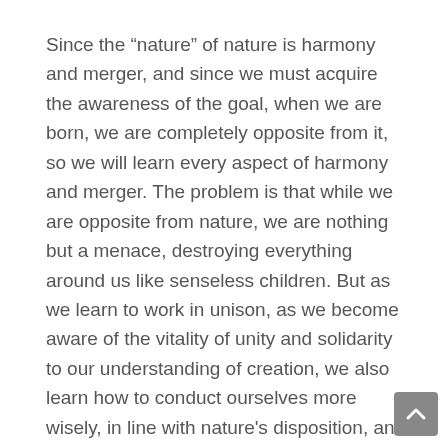Since the “nature” of nature is harmony and merger, and since we must acquire the awareness of the goal, when we are born, we are completely opposite from it, so we will learn every aspect of harmony and merger. The problem is that while we are opposite from nature, we are nothing but a menace, destroying everything around us like senseless children. But as we learn to work in unison, as we become aware of the vitality of unity and solidarity to our understanding of creation, we also learn how to conduct ourselves more wisely, in line with nature's disposition, and the conflicts we feel among ourselves and with nature become tailwinds that push us forward.
As long as we are obstinate, we suffer. We pollute the sky, the water, and the soil. We deplete the abundance that nature has given us in order to achieve power and control; we use and abuse each other, kill, rape, and denigrate each other as though only we are entitled to enjoy life, and we leave nothing for the future. We behave like grownup children, with bodies of grownups but the mind of a child